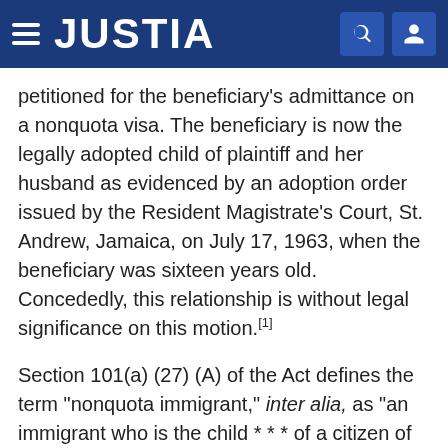JUSTIA
petitioned for the beneficiary's admittance on a nonquota visa. The beneficiary is now the legally adopted child of plaintiff and her husband as evidenced by an adoption order issued by the Resident Magistrate's Court, St. Andrew, Jamaica, on July 17, 1963, when the beneficiary was sixteen years old. Concededly, this relationship is without legal significance on this motion.[1]
Section 101(a) (27) (A) of the Act defines the term "nonquota immigrant," inter alia, as "an immigrant who is the child * * * of a citizen of the United States." "Child," in turn, is defined in section 101(b) (1) as:
"(1) * * * an unmarried person under twenty-one years of age who is